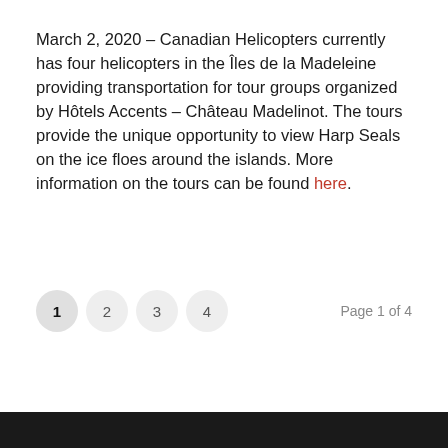March 2, 2020 – Canadian Helicopters currently has four helicopters in the Îles de la Madeleine providing transportation for tour groups organized by Hôtels Accents – Château Madelinot. The tours provide the unique opportunity to view Harp Seals on the ice floes around the islands. More information on the tours can be found here.
1  2  3  4    Page 1 of 4